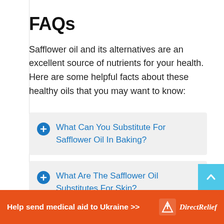FAQs
Safflower oil and its alternatives are an excellent source of nutrients for your health. Here are some helpful facts about these healthy oils that you may want to know:
What Can You Substitute For Safflower Oil In Baking?
What Are The Safflower Oil Substitutes For Skin?
What Are Substitutes For Safflower Oil In
Help send medical aid to Ukraine >>